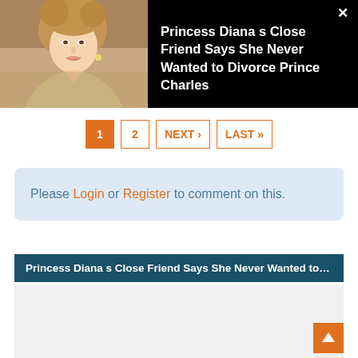[Figure (photo): Photo of Princess Diana with styled hair, wearing a light-colored outfit, against a dark background]
Princess Diana s Close Friend Says She Never Wanted to Divorce Prince Charles
1  2  NEXT ›  LAST »
Please Login or Register to comment on this.
Princess Diana s Close Friend Says She Never Wanted to Divorce Prince...